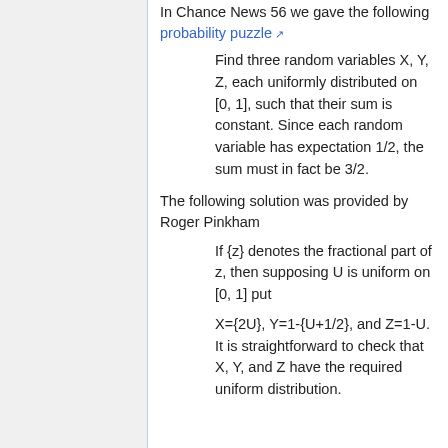In Chance News 56 we gave the following probability puzzle
Find three random variables X, Y, Z, each uniformly distributed on [0, 1], such that their sum is constant. Since each random variable has expectation 1/2, the sum must in fact be 3/2.
The following solution was provided by Roger Pinkham
If {z} denotes the fractional part of z, then supposing U is uniform on [0, 1] put
X={2U}, Y=1-{U+1/2}, and Z=1-U. It is straightforward to check that X, Y, and Z have the required uniform distribution.